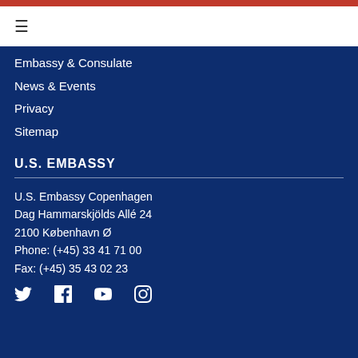Embassy & Consulate
News & Events
Privacy
Sitemap
U.S. EMBASSY
U.S. Embassy Copenhagen
Dag Hammarskjölds Allé 24
2100 København Ø
Phone: (+45) 33 41 71 00
Fax: (+45) 35 43 02 23
[Figure (other): Social media icons: Twitter, Facebook, YouTube, Instagram]